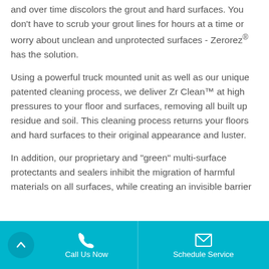and over time discolors the grout and hard surfaces. You don't have to scrub your grout lines for hours at a time or worry about unclean and unprotected surfaces - Zerorez® has the solution.
Using a powerful truck mounted unit as well as our unique patented cleaning process, we deliver Zr Clean™ at high pressures to your floor and surfaces, removing all built up residue and soil. This cleaning process returns your floors and hard surfaces to their original appearance and luster.
In addition, our proprietary and "green" multi-surface protectants and sealers inhibit the migration of harmful materials on all surfaces, while creating an invisible barrier
Call Us Now   Schedule Service